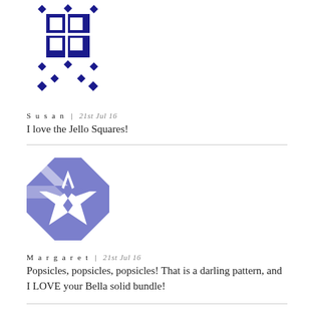[Figure (illustration): Dark blue quilt block avatar with square grid and diamond shapes]
Susan | 21st Jul 16
I love the Jello Squares!
[Figure (illustration): Blue/periwinkle quilt block avatar with star and diagonal patterns]
Margaret | 21st Jul 16
Popsicles, popsicles, popsicles! That is a darling pattern, and I LOVE your Bella solid bundle!
[Figure (illustration): Purple quilt block avatar with arrow/chevron patterns, partially visible]